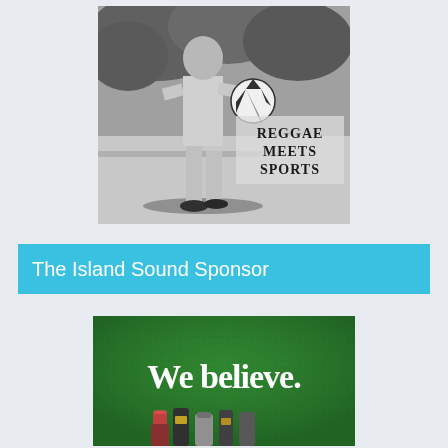[Figure (photo): Black and white photo of a person in light-colored pants with a soccer ball, with foliage in background. Text overlay reads 'Reggae Meets Sports'.]
The Island Sound Sponsor
[Figure (photo): Beer advertisement on green background with white text reading 'We believe.' and beer bottles/cans at the bottom.]